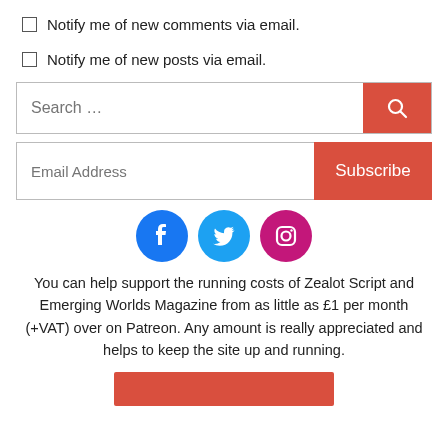Notify me of new comments via email.
Notify me of new posts via email.
Search ...
Email Address
Subscribe
[Figure (infographic): Three social media icons: Facebook (blue circle), Twitter (light blue circle), Instagram (pink/magenta circle)]
You can help support the running costs of Zealot Script and Emerging Worlds Magazine from as little as £1 per month (+VAT) over on Patreon. Any amount is really appreciated and helps to keep the site up and running.